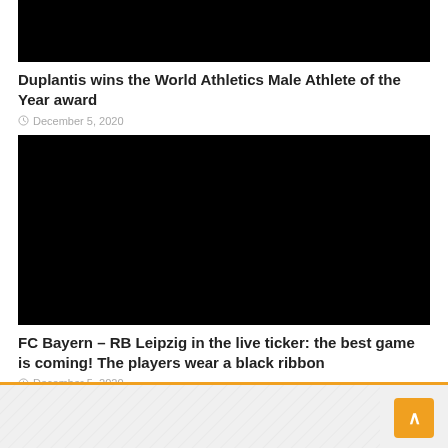[Figure (photo): Black image placeholder for first article]
Duplantis wins the World Athletics Male Athlete of the Year award
December 5, 2020
[Figure (photo): Black image placeholder for second article]
FC Bayern – RB Leipzig in the live ticker: the best game is coming! The players wear a black ribbon
December 5, 2020